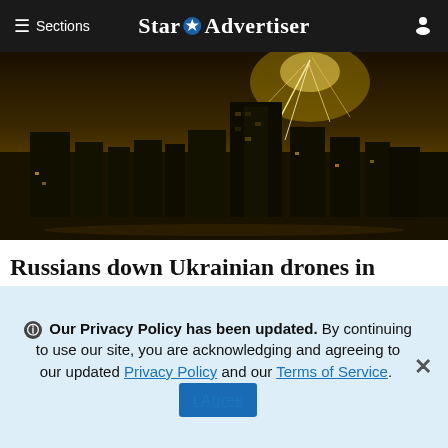≡ Sections | Star Advertiser
[Figure (photo): Nighttime photo of a city skyline with streaks of light in the sky, yellow-brown tinted sky, multi-story buildings silhouetted against glowing atmosphere, appears to show aerial defense or missile trails]
Russians down Ukrainian drones in Crimea as war broadens
[Figure (photo): Daytime photo of trees and a building exterior with a corrugated fence/barrier structure, overcast sky]
🛈 Our Privacy Policy has been updated. By continuing to use our site, you are acknowledging and agreeing to our updated Privacy Policy and our Terms of Service. I Agree